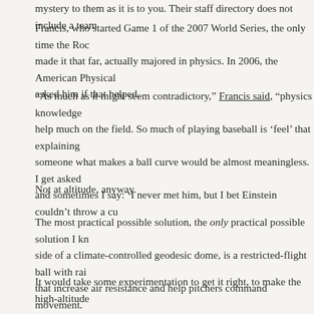mystery to them as it is to you. Their staff directory does not include a team
Francis, who started Game 1 of the 2007 World Series, the only time the Roc made it that far, actually majored in physics. In 2006, the American Physical asked him if that helped.
“As much as it might seem contradictory,” Francis said, “physics knowledge help much on the field. So much of playing baseball is ‘feel’ that explaining someone what makes a ball curve would be almost meaningless. I get asked and sometimes I say: ‘I never met him, but I bet Einstein couldn’t throw a cu
Not at altitude, anyway.
The most practical possible solution, the only practical possible solution I kn side of a climate-controlled geodesic dome, is a restricted-flight ball with rai that increase air resistance and help pitchers command movement.
It would take some experimentation to get it right, to make the high-altitude behave a mile high the way a standard ball behaves at sea level. But I suspec not be the most miraculous technological innovation of our age.
If the alternative is denying science, pretending that will can overcome phys seems, after all these years, like it’s worth a shot.